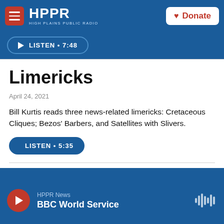HPPR HIGH PLAINS PUBLIC RADIO | Donate
▶ LISTEN • 7:48
Limericks
April 24, 2021
Bill Kurtis reads three news-related limericks: Cretaceous Cliques; Bezos' Barbers, and Satellites with Slivers.
▶ LISTEN • 5:35
HPPR News | BBC World Service